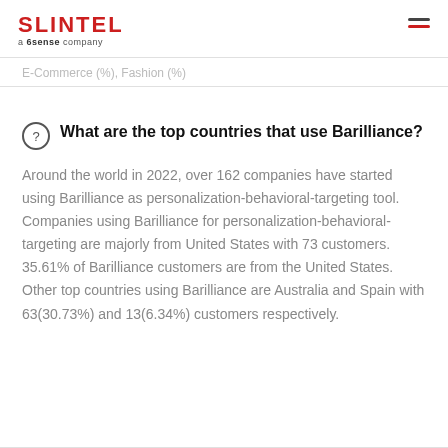SLINTEL a 6sense company
E-Commerce (%), Fashion (%)
What are the top countries that use Barilliance?
Around the world in 2022, over 162 companies have started using Barilliance as personalization-behavioral-targeting tool. Companies using Barilliance for personalization-behavioral-targeting are majorly from United States with 73 customers. 35.61% of Barilliance customers are from the United States. Other top countries using Barilliance are Australia and Spain with 63(30.73%) and 13(6.34%) customers respectively.